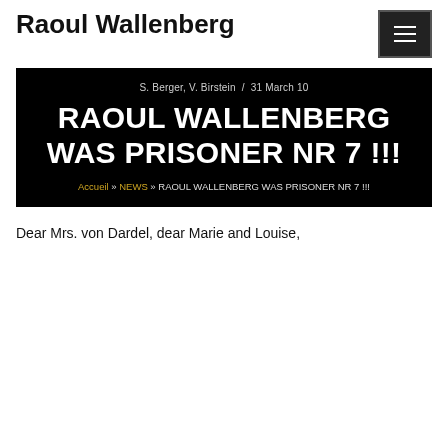Raoul Wallenberg
[Figure (infographic): Black banner with byline 'S. Berger, V. Birstein / 31 March 10', large white bold title 'RAOUL WALLENBERG WAS PRISONER NR 7 !!!', and breadcrumb navigation 'Accueil » NEWS » RAOUL WALLENBERG WAS PRISONER NR 7 !!!']
Dear Mrs. von Dardel, dear Marie and Louise,